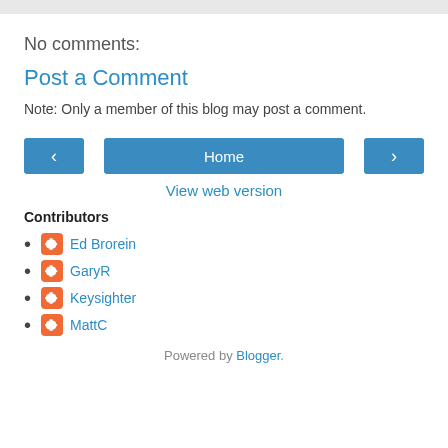No comments:
Post a Comment
Note: Only a member of this blog may post a comment.
[Figure (other): Navigation buttons: left arrow, Home, right arrow]
View web version
Contributors
Ed Brorein
GaryR
Keysighter
MattC
Powered by Blogger.